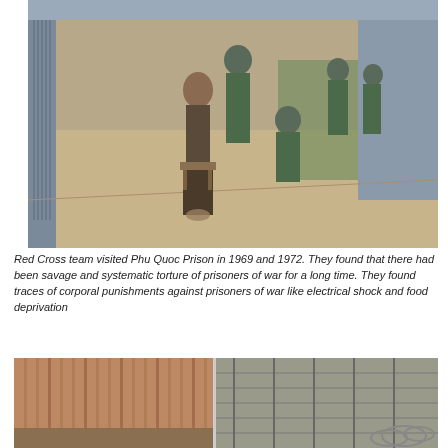[Figure (photo): Photograph taken inside a prison facility showing a shirtless emaciated man restrained, with guards in green uniforms around him in a corridor-like structure with corrugated metal walls.]
Red Cross team visited Phu Quoc Prison in 1969 and 1972. They found that there had been savage and systematic torture of prisoners of war for a long time. They found traces of corporal punishments against prisoners of war like electrical shock and food deprivation
[Figure (photo): Photograph showing prison facilities including bamboo/metal walls and fencing with barbed wire.]